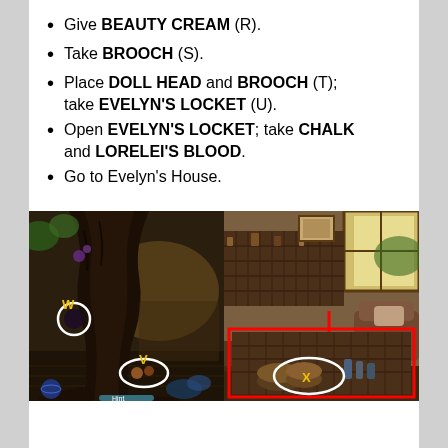Give BEAUTY CREAM (R).
Take BROOCH (S).
Place DOLL HEAD and BROOCH (T); take EVELYN'S LOCKET (U).
Open EVELYN'S LOCKET; take CHALK and LORELEI'S BLOOD.
Go to Evelyn's House.
[Figure (screenshot): Left: dark fantasy scene with a large gnarled tree trunk, glowing orb labeled W in white circle, items labeled V in white oval on floor. Right: interior room with shelves, window with natural light, red rectangle inset showing close-up of shelves with white oval labeled X, red arrow pointing down.]